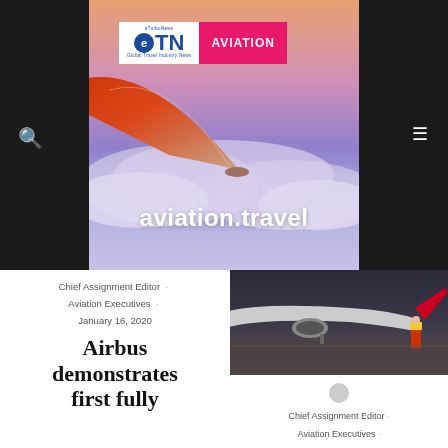[Figure (photo): eTN Aviation banner with airplane wing photo showing sky and clouds. eTN Global Travel Industry News logo with pink AVIATION label. Text 'aviation.travel' overlaid on image. Search and menu icons on dark background.]
Chief Assignment Editor · Aviation Executives · January 16, 2020
Airbus demonstrates first fully
[Figure (photo): Photo of airplane on tarmac with ground crew in yellow vest visible.]
Chief Assignment Editor · Aviation Executives · January 16, 2020